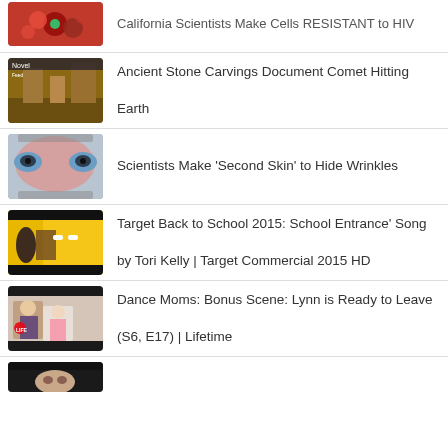California Scientists Make Cells RESISTANT to HIV
Ancient Stone Carvings Document Comet Hitting Earth
Scientists Make 'Second Skin' to Hide Wrinkles
Target Back to School 2015: School Entrance' Song by Tori Kelly | Target Commercial 2015 HD
Dance Moms: Bonus Scene: Lynn is Ready to Leave (S6, E17) | Lifetime